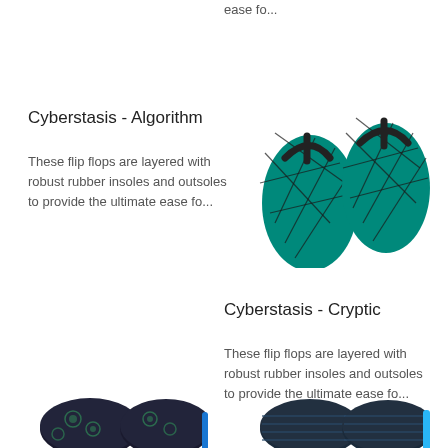ease fo...
Cyberstasis - Algorithm
These flip flops are layered with robust rubber insoles and outsoles to provide the ultimate ease fo...
[Figure (photo): Pair of teal/green flip flops with black geometric line pattern and black straps, seen from above]
Cyberstasis - Cryptic
These flip flops are layered with robust rubber insoles and outsoles to provide the ultimate ease fo...
[Figure (photo): Pair of dark/black flip flops with floral pattern and blue trim, partially visible at bottom of page]
[Figure (photo): Pair of dark blue/black flip flops with blue trim, partially visible at bottom of page]